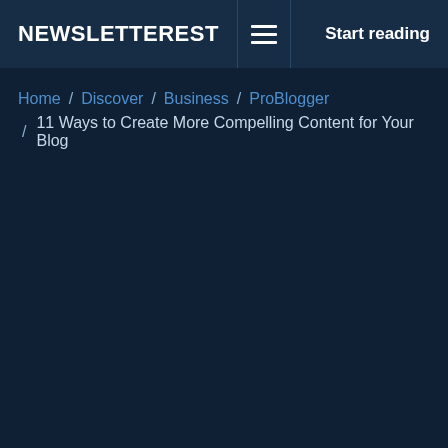NEWSLETTEREST  Start reading
Home / Discover / Business / ProBlogger
/ 11 Ways to Create More Compelling Content for Your Blog